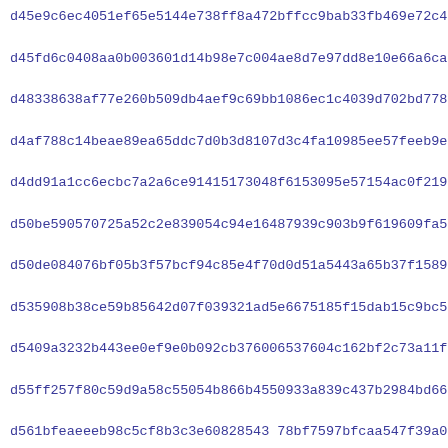d45e9c6ec4051ef65e5144e738ff8a472bffcc9bab33fb469e72c417a9202
d45fd6c0408aa0b003601d14b98e7c004ae8d7e97dd8e10e66a6ca6bdf3be
d48338638af77e260b509db4aef9c69bb1086ec1c4039d702bd7785be1d32
d4af788c14beae89ea65ddc7d0b3d8107d3c4fa10985ee57feeb9eb099f95
d4dd91a1cc6ecbc7a2a6ce91415173048f6153095e57154ac0f21971459ef
d50be590570725a52c2e839054c94e16487939c903b9f619609fa532fd89a
d50de084076bf05b3f57bcf94c85e4f70d0d51a5443a65b37f1589d39a36c
d535908b38ce59b85642d07f039321ad5e6675185f15dab15c9bc5d397791
d5409a3232b443ee0ef9e0b092cb376006537604c162bf2c73a11ffa7be1c
d55ff257f80c59d9a58c55054b866b4550933a839c437b2984bd66a9422ef
d561bfeaeeeb98c5cf8b3c3e60828543 78bf7597bfcaa547f39a00d043b26